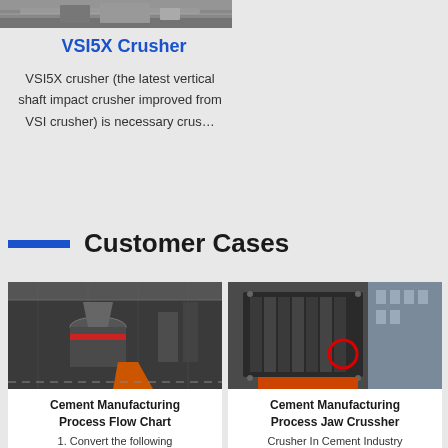[Figure (photo): Top portion of industrial crusher machine, partially visible]
VSI5X Crusher
VSI5X crusher (the latest vertical shaft impact crusher improved from VSI crusher) is necessary crus…
Customer Cases
[Figure (photo): Cement manufacturing facility with large industrial crusher machine inside a warehouse]
Cement Manufacturing Process Flow Chart
1. Convert the following
[Figure (photo): Large jaw crusher machine for cement manufacturing, with red circle marking a component]
Cement Manufacturing Process Jaw Crussher
Crusher In Cement Industry